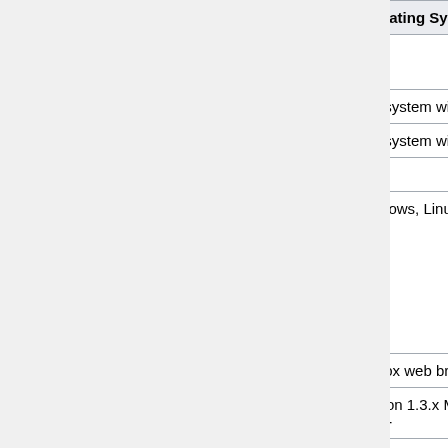| Application | Operating Systems |
| --- | --- |
| Alkitab Bible Study [ext] | Any system with Java (Windows, Mac, Linux,… |
| BibleDesktop (JSword) | Any system with Java (Windows, Mac, Linux,… |
| BibleTime [ext] (see also Kio-Sword) | Linux |
| BPBible (wxPython) [ext] | Windows, Linux |
| FireBible (JSword/FireFox) [ext] | Firefox web browser in Windows, Mac, Linux |
| MacSword | version 1.3.x Mac OSX 10.3+, version 1.4.x Mac OSX 10.4+ |
| The SWORD… | Windows… |